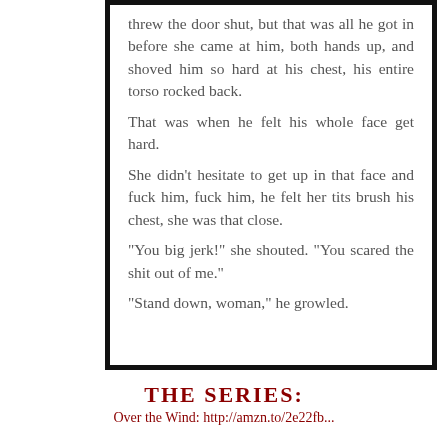threw the door shut, but that was all he got in before she came at him, both hands up, and shoved him so hard at his chest, his entire torso rocked back.
That was when he felt his whole face get hard.
She didn't hesitate to get up in that face and fuck him, fuck him, he felt her tits brush his chest, she was that close.
"You big jerk!" she shouted. "You scared the shit out of me."
"Stand down, woman," he growled.
THE SERIES:
Over the Wind: http://amzn.to/2e22fb...